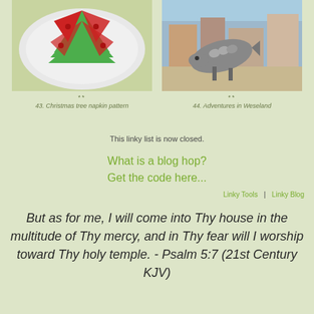[Figure (photo): Christmas tree napkin folded on a white plate with red and green fabric]
43. Christmas tree napkin pattern
[Figure (photo): Metal fish sculpture outdoors in an urban plaza with buildings in background]
44. Adventures in Weseland
This linky list is now closed.
What is a blog hop?
Get the code here...
Linky Tools  |  Linky Blog
But as for me, I will come into Thy house in the multitude of Thy mercy, and in Thy fear will I worship toward Thy holy temple. - Psalm 5:7 (21st Century KJV)